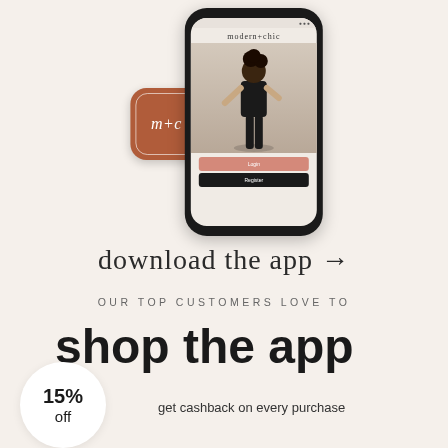[Figure (illustration): Smartphone mockup showing the modern+chic fashion app with a model photo, login and register buttons, alongside the m+c app icon on a brown rounded-square background]
download the app →
OUR TOP CUSTOMERS LOVE TO
shop the app
get cashback on every purchase
15% off